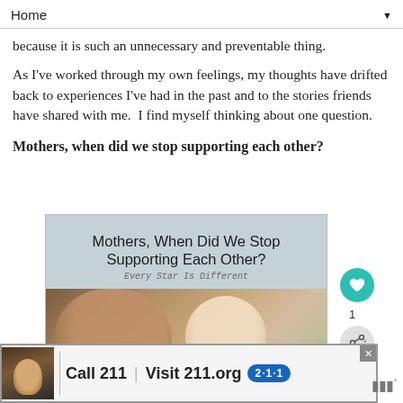Home ▼
because it is such an unnecessary and preventable thing.
As I've worked through my own feelings, my thoughts have drifted back to experiences I've had in the past and to the stories friends have shared with me.  I find myself thinking about one question.
Mothers, when did we stop supporting each other?
[Figure (illustration): Blog post image showing text 'Mothers, When Did We Stop Supporting Each Other?' with subtitle 'Every Star Is Different' over a photo of a mother and baby]
[Figure (infographic): Ad banner: Call 211 | Visit 211.org with blue 2-1-1 logo badge, showing a person photo on left]